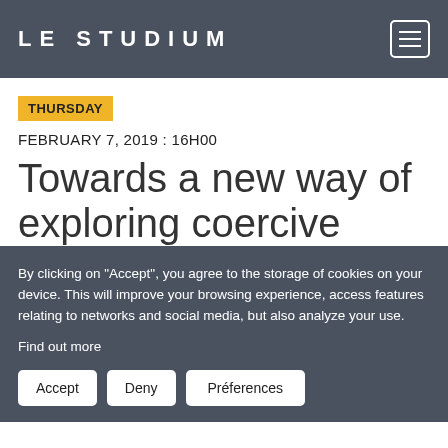LE STUDIUM
THURSDAY
FEBRUARY 7, 2019 : 16H00
Towards a new way of exploring coercive
By clicking on "Accept", you agree to the storage of cookies on your device. This will improve your browsing experience, access features relating to networks and social media, but also analyze your use.
Find out more
Accept  Deny  Préferences